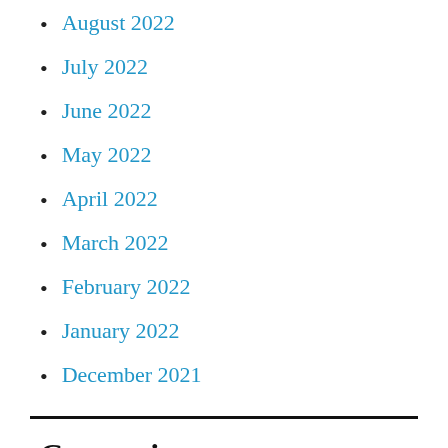August 2022
July 2022
June 2022
May 2022
April 2022
March 2022
February 2022
January 2022
December 2021
Categories
11 Most Expensive Noob Factory Replica Watches Sapphire Crystal
12 Best Aaa Patek Philippe Replica Watches